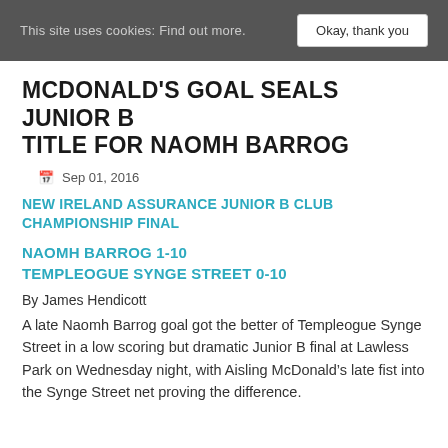This site uses cookies: Find out more.   Okay, thank you
MCDONALD'S GOAL SEALS JUNIOR B TITLE FOR NAOMH BARROG
Sep 01, 2016
NEW IRELAND ASSURANCE JUNIOR B CLUB CHAMPIONSHIP FINAL
NAOMH BARROG 1-10
TEMPLEOGUE SYNGE STREET 0-10
By James Hendicott
A late Naomh Barrog goal got the better of Templeogue Synge Street in a low scoring but dramatic Junior B final at Lawless Park on Wednesday night, with Aisling McDonald’s late fist into the Synge Street net proving the difference.